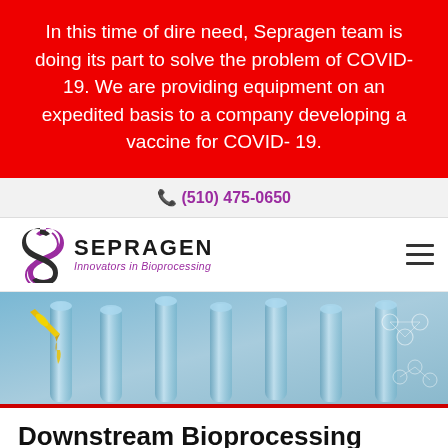In this time of dire need, Sepragen team is doing its part to solve the problem of COVID-19. We are providing equipment on an expedited basis to a company developing a vaccine for COVID- 19.
(510) 475-0650
[Figure (logo): Sepragen logo with stylized S and text 'SEPRAGEN Innovators in Bioprocessing']
[Figure (photo): Hero banner photo of laboratory glassware/test tubes with yellow liquid being dispensed, blue tones]
Downstream Bioprocessing
In the creation of bio-pharmaceutical drugs, cells are genetically modified to produce some compound shown